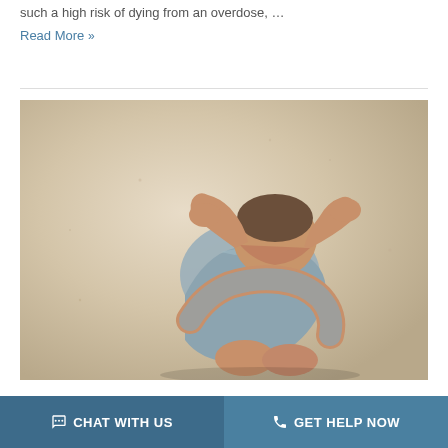such a high risk of dying from an overdose, …
Read More »
[Figure (photo): A man sitting hunched against a wall with his head down and hands clasped on top of his head, appearing distressed. The background is a beige textured wall.]
💬 CHAT WITH US   📞 GET HELP NOW